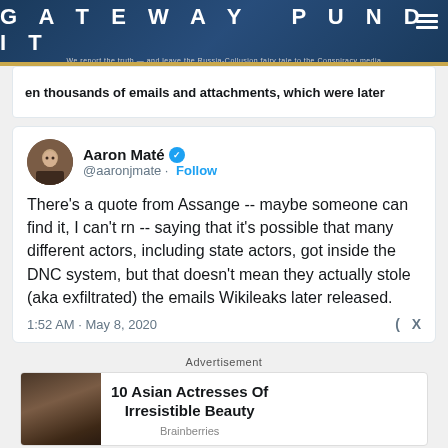GATEWAY PUNDIT
en thousands of emails and attachments, which were later
Aaron Maté @aaronjmate · Follow

There's a quote from Assange -- maybe someone can find it, I can't rn -- saying that it's possible that many different actors, including state actors, got inside the DNC system, but that doesn't mean they actually stole (aka exfiltrated) the emails Wikileaks later released.

1:52 AM · May 8, 2020
Advertisement
10 Asian Actresses Of Irresistible Beauty
Brainberries